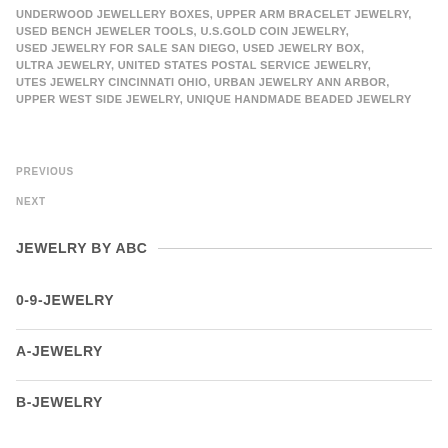UNDERWOOD JEWELLERY BOXES, UPPER ARM BRACELET JEWELRY, USED BENCH JEWELER TOOLS, U.S.GOLD COIN JEWELRY, USED JEWELRY FOR SALE SAN DIEGO, USED JEWELRY BOX, ULTRA JEWELRY, UNITED STATES POSTAL SERVICE JEWELRY, UTES JEWELRY CINCINNATI OHIO, URBAN JEWELRY ANN ARBOR, UPPER WEST SIDE JEWELRY, UNIQUE HANDMADE BEADED JEWELRY
PREVIOUS
NEXT
JEWELRY BY ABC
0-9-JEWELRY
A-JEWELRY
B-JEWELRY